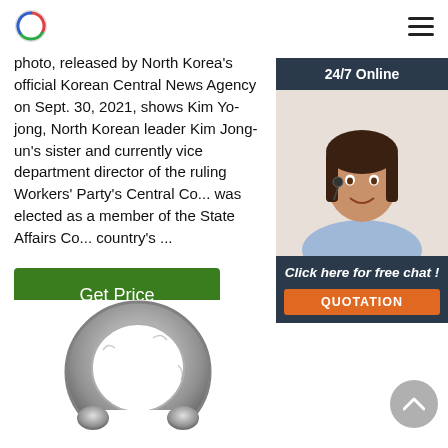[Logo] [Hamburger menu]
photo, released by North Korea's official Korean Central News Agency on Sept. 30, 2021, shows Kim Yo-jong, North Korean leader Kim Jong-un's sister and currently vice department director of the ruling Workers' Party's Central Co... was elected as a member of the State Affairs Co... country's ...
[Figure (other): Chat widget showing a woman with a headset smiling, with header '24/7 Online', body text 'Click here for free chat!' and a QUOTATION button]
Get Price
[Figure (photo): Close-up photo of a galvanized metal eye nut / lifting ring hardware component, viewed from the front]
[Figure (other): Grey circular back-to-top button with an upward chevron arrow]